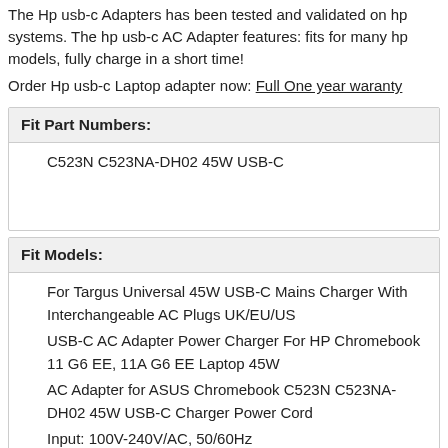The Hp usb-c Adapters has been tested and validated on hp systems. The hp usb-c AC Adapter features: fits for many hp models, fully charge in a short time!
Order Hp usb-c Laptop adapter now: Full One year waranty
| Fit Part Numbers: |
| --- |
| C523N C523NA-DH02 45W USB-C |
| Fit Models: |
| --- |
| For Targus Universal 45W USB-C Mains Charger With Interchangeable AC Plugs UK/EU/US |
| USB-C AC Adapter Power Charger For HP Chromebook 11 G6 EE, 11A G6 EE Laptop 45W |
| AC Adapter for ASUS Chromebook C523N C523NA-DH02 45W USB-C Charger Power Cord |
| Input: 100V-240V/AC, 50/60Hz |
| Output: Type-C PD 5V/3A,9V/3A,15V/3A,20V/2.25A (45W Max) |
| Plug: (US EU UK FOR YOUR CHOOSE) |